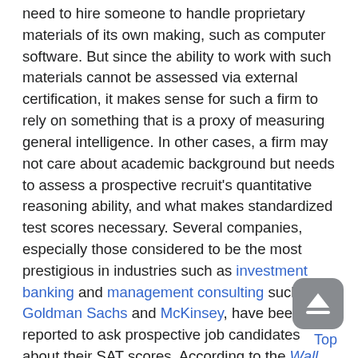need to hire someone to handle proprietary materials of its own making, such as computer software. But since the ability to work with such materials cannot be assessed via external certification, it makes sense for such a firm to rely on something that is a proxy of measuring general intelligence. In other cases, a firm may not care about academic background but needs to assess a prospective recruit's quantitative reasoning ability, and what makes standardized test scores necessary. Several companies, especially those considered to be the most prestigious in industries such as investment banking and management consulting such as Goldman Sachs and McKinsey, have been reported to ask prospective job candidates about their SAT scores. According to the Wall Street Journal, the scores are used similarly to how they are in college admissions, in that companies claim they provide insight into the intellectual capabilities and problem-solving skills of an individual.